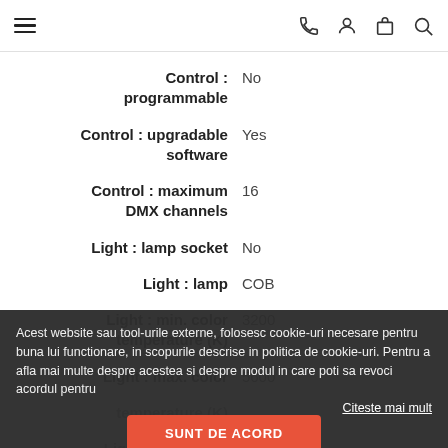Navigation bar with hamburger menu, phone, user, cart, and search icons
| Property | Value |
| --- | --- |
| Control : programmable | No |
| Control : upgradable software | Yes |
| Control : maximum DMX channels | 16 |
| Light : lamp socket | No |
| Light : lamp | COB |
| Light : min. color temperature (K) | 3200 |
| Light : max. color temperature (K) | 5600 |
| Light : min. beam angle (°) | 10 |
| Light : max. beam angle | 60 |
Acest website sau tool-urile externe, folosesc cookie-uri necesare pentru buna lui functionare, in scopurile descrise in politica de cookie-uri. Pentru a afla mai multe despre acestea si despre modul in care poti sa revoci acordul pentru
Citeste mai mult
SUNT DE ACORD